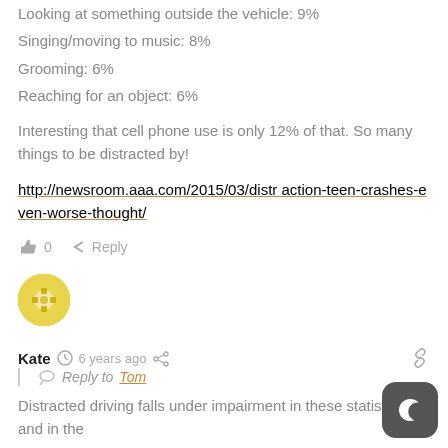Looking at something outside the vehicle: 9%
Singing/moving to music: 8%
Grooming: 6%
Reaching for an object: 6%
Interesting that cell phone use is only 12% of that. So many things to be distracted by!
http://newsroom.aaa.com/2015/03/distraction-teen-crashes-even-worse-thought/
👍 0   ↪ Reply
Kate  🕐 6 years ago  ⬡  Reply to Tom
Distracted driving falls under impairment in these statistics and in the